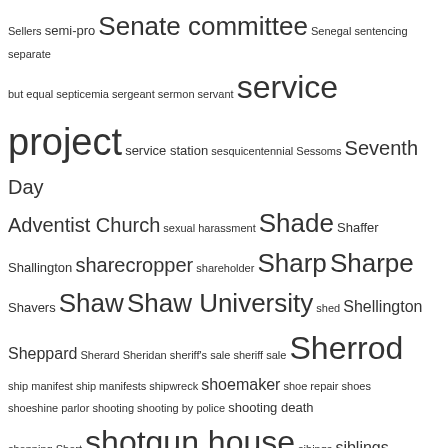[Figure (other): Tag cloud / word cloud showing genealogy/history related terms. Words displayed in varying font sizes indicating frequency or importance. Terms include: Sellers, semi-pro, Senate committee, Senegal, sentencing, separate but equal, septicemia, sergeant, sermon, servant, service project, service station, sesquicentennial, Sessoms, Seventh Day Adventist Church, sexual harassment, Shade, Shaffer, Shallington, sharecropper, shareholder, Sharp, Sharpe, Shavers, Shaw, Shaw University, shed, Shellington, Sheppard, Sherard, Sheridan, sheriff's sale, sheriff sale, Sherrod, ship manifest, ship manifests, shipwreck, shoemaker, shoe repair, shoes, shoeshine parlor, shooting, shooting by police, shooting death, shopping, Short, shotgun house, sibings, siblings, signature, sign painter, silent film, Silver, Simmons, Simms, Simon, Simpson, Sims, singer, singing group, Singletary, sister, sisters, skating rink, skeleton, Skinner, slang, slap, Slater Industrial and State Normal School, slave auction, slavecatcher, slave dwelling, slave hire, slaveholder, slave narrative, slaveowner, slavery, slave sale, slave schedule, slave trade, slave trader, Small, smallpox, Smith, Smith Street, snake oil, snapshot, and social life.]